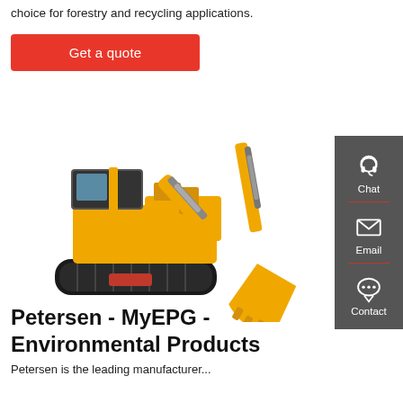choice for forestry and recycling applications.
Get a quote
[Figure (photo): Yellow mini excavator / compact excavator with black tracks and yellow hydraulic arm with bucket attachment, on white background]
Chat
Email
Contact
Petersen - MyEPG - Environmental Products
Petersen is the leading manufacturer...